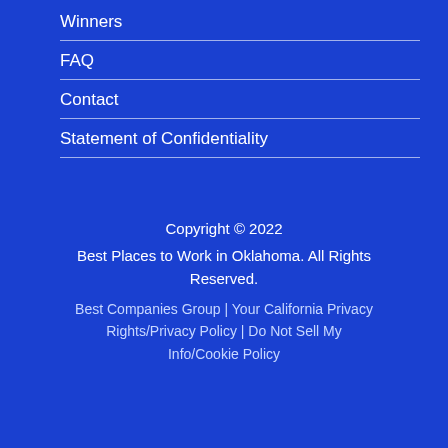Winners
FAQ
Contact
Statement of Confidentiality
Copyright © 2022
Best Places to Work in Oklahoma. All Rights Reserved.
Best Companies Group | Your California Privacy Rights/Privacy Policy | Do Not Sell My Info/Cookie Policy